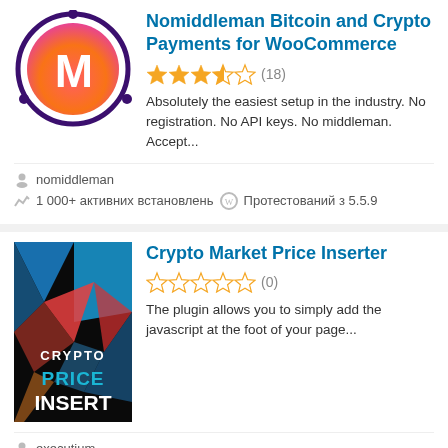[Figure (logo): Nomiddleman plugin logo - orange/pink gradient circle with white M letter and purple orbit ring]
Nomiddleman Bitcoin and Crypto Payments for WooCommerce
★★★★☆ (18)
Absolutely the easiest setup in the industry. No registration. No API keys. No middleman. Accept...
nomiddleman
1 000+ активних встановлень  Протестований з 5.5.9
[Figure (illustration): Crypto Market Price Inserter plugin logo - dark background with colorful geometric shapes and text CRYPTO PRICE INSERT]
Crypto Market Price Inserter
☆☆☆☆☆ (0)
The plugin allows you to simply add the javascript at the foot of your page...
executium